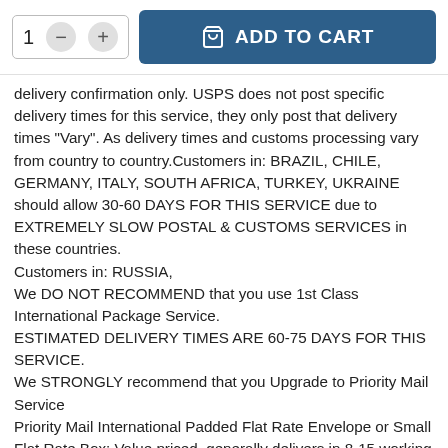[Figure (screenshot): Add to cart UI widget with quantity selector (showing '1' with minus and plus buttons) and a blue 'ADD TO CART' button with a shopping bag icon]
delivery confirmation only. USPS does not post specific delivery times for this service, they only post that delivery times "Vary". As delivery times and customs processing vary from country to country.Customers in: BRAZIL, CHILE, GERMANY, ITALY, SOUTH AFRICA, TURKEY, UKRAINE should allow 30-60 DAYS FOR THIS SERVICE due to EXTREMELY SLOW POSTAL & CUSTOMS SERVICES in these countries.
Customers in: RUSSIA,
We DO NOT RECOMMEND that you use 1st Class International Package Service.
ESTIMATED DELIVERY TIMES ARE 60-75 DAYS FOR THIS SERVICE.
We STRONGLY recommend that you Upgrade to Priority Mail Service
Priority Mail International Padded Flat Rate Envelope or Small Flat Rate Box: Value priced, generally delivers in 8-15 working days from date of shipment. On-line tracking is NOT available with this shipping service.  Customers in: BRAZIL, CHILE, GERMANY, ITALY, RUSSIA, SOUTH AFRICA, TURKEY, UKRAINE should allow 15-25